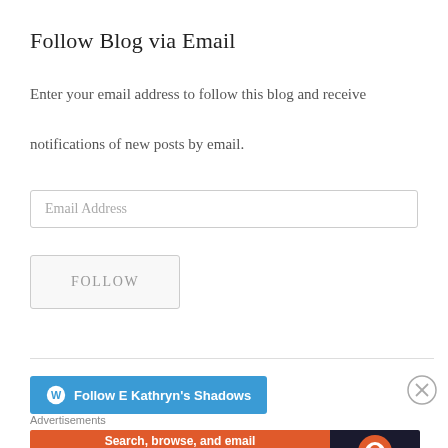Follow Blog via Email
Enter your email address to follow this blog and receive notifications of new posts by email.
[Figure (screenshot): Email address input field with placeholder text 'Email Address']
[Figure (screenshot): FOLLOW button with border]
[Figure (screenshot): WordPress Follow button: 'Follow E Kathryn's Shadows' with WordPress icon in blue]
[Figure (screenshot): Close/dismiss button (circle X)]
Advertisements
[Figure (infographic): DuckDuckGo advertisement banner: 'Search, browse, and email with more privacy. All in One Free App' on orange background with DuckDuckGo logo on dark background]